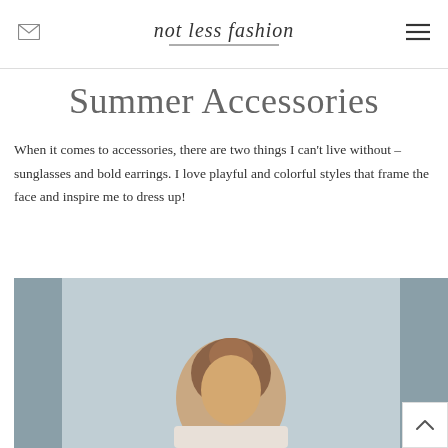not less fashion
Summer Accessories
When it comes to accessories, there are two things I can't live without – sunglasses and bold earrings. I love playful and colorful styles that frame the face and inspire me to dress up!
[Figure (photo): A person photographed outdoors against a grey wall background, showing upper body, with reddish-brown hair styled up]